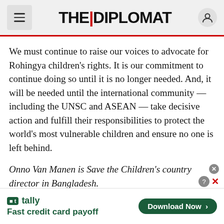THE DIPLOMAT
We must continue to raise our voices to advocate for Rohingya children's rights. It is our commitment to continue doing so until it is no longer needed. And, it will be needed until the international community — including the UNSC and ASEAN — take decisive action and fulfill their responsibilities to protect the world's most vulnerable children and ensure no one is left behind.
Onno Van Manen is Save the Children's country director in Bangladesh.
TAGS
[Figure (screenshot): Tally app advertisement banner: 'Fast credit card payoff' with a green Download Now button]